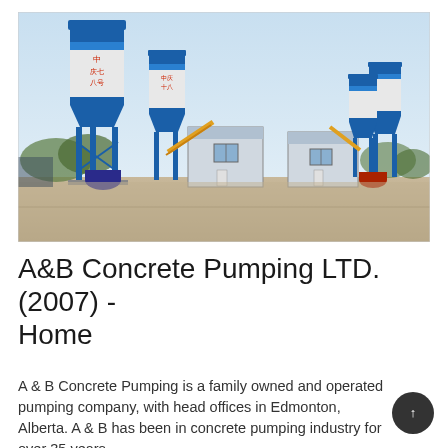[Figure (photo): Outdoor industrial concrete batching plant with large blue and white cylindrical silos, blue steel support structures, yellow conveyor arms, modular office/control buildings, and trees in the background under a light blue sky.]
A&B Concrete Pumping LTD. (2007) - Home
A & B Concrete Pumping is a family owned and operated pumping company, with head offices in Edmonton, Alberta. A & B has been in concrete pumping industry for over 35 years.